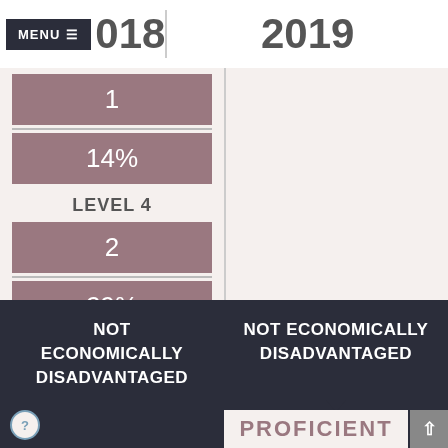2018
2019
| 2018 | 2019 |
| --- | --- |
| 1 | 2 |
| 14% | 20% |
| LEVEL 4 | LEVEL 4 |
| 2 | 1 |
| 29% | 10% |
NOT ECONOMICALLY DISADVANTAGED
NOT ECONOMICALLY DISADVANTAGED
PROFICIENT